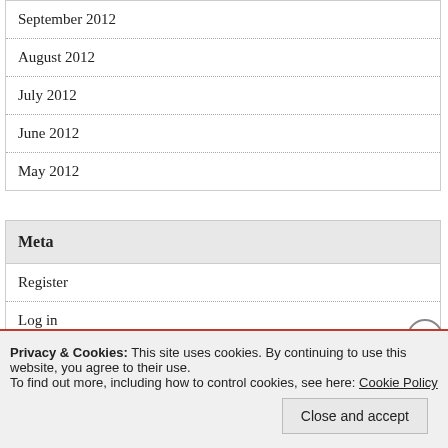September 2012
August 2012
July 2012
June 2012
May 2012
Meta
Register
Log in
Privacy & Cookies: This site uses cookies. By continuing to use this website, you agree to their use.
To find out more, including how to control cookies, see here: Cookie Policy
Close and accept